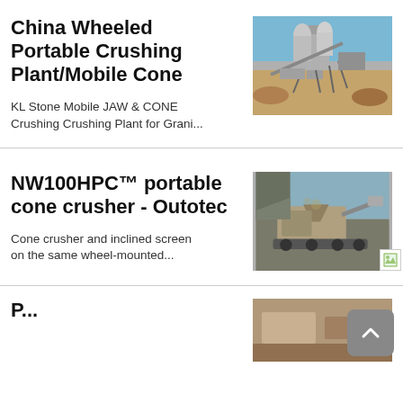China Wheeled Portable Crushing Plant/Mobile Cone
KL Stone Mobile JAW & CONE Crushing Crushing Plant for Grani...
[Figure (photo): Photo of a wheeled portable crushing plant/mobile cone industrial equipment at an outdoor quarry site]
NW100HPC™ portable cone crusher - Outotec
Cone crusher and inclined screen on the same wheel-mounted...
[Figure (photo): Photo of NW100HPC portable cone crusher by Outotec, shown at a rocky quarry site]
P...